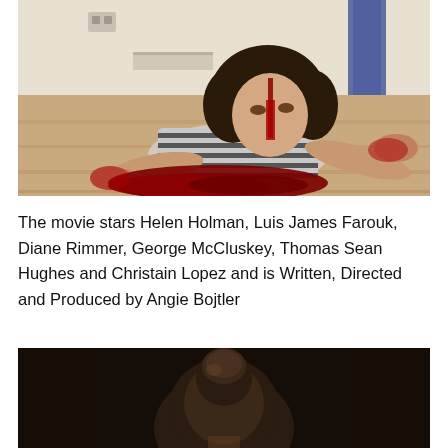[Figure (photo): A woman with long curly dark hair lies on a wooden floor covered in fake blood, wearing a striped top and looking at the camera. Her hands and face are bloodied. A red pool of blood spreads around her hands. Another person's legs in jeans are visible in the background.]
The movie stars Helen Holman, Luis James Farouk, Diane Rimmer, George McCluskey, Thomas Sean Hughes and Christain Lopez and is Written, Directed and Produced by Angie Bojtler
[Figure (photo): Dark, moody image showing the back of a person's head with their hair up, in a dimly lit scene with dark brown and black tones.]